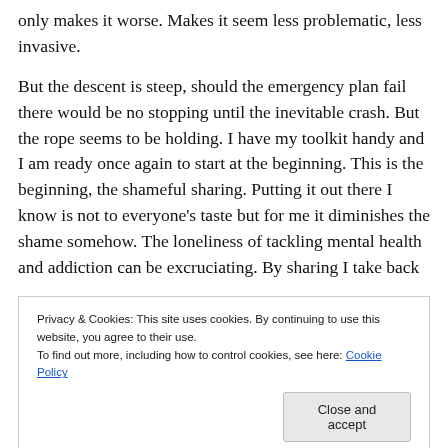only makes it worse. Makes it seem less problematic, less invasive.
But the descent is steep, should the emergency plan fail there would be no stopping until the inevitable crash. But the rope seems to be holding. I have my toolkit handy and I am ready once again to start at the beginning. This is the beginning, the shameful sharing. Putting it out there I know is not to everyone’s taste but for me it diminishes the shame somehow. The loneliness of tackling mental health and addiction can be excruciating. By sharing I take back
Privacy & Cookies: This site uses cookies. By continuing to use this website, you agree to their use.
To find out more, including how to control cookies, see here: Cookie Policy
Close and accept
six for me I think. I am going to try and achieve a below